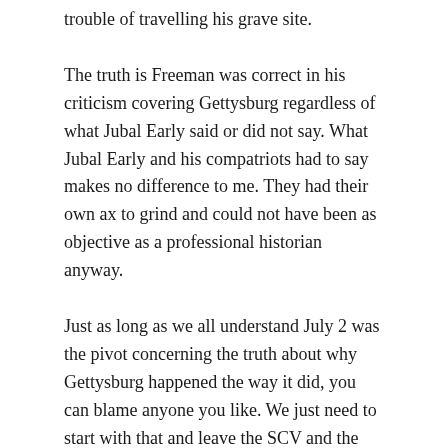trouble of travelling his grave site.
The truth is Freeman was correct in his criticism covering Gettysburg regardless of what Jubal Early said or did not say. What Jubal Early and his compatriots had to say makes no difference to me. They had their own ax to grind and could not have been as objective as a professional historian anyway.
Just as long as we all understand July 2 was the pivot concerning the truth about why Gettysburg happened the way it did, you can blame anyone you like. We just need to start with that and leave the SCV and the NAACP out of it altogether. I do not really care what the NPS thinks about anything.